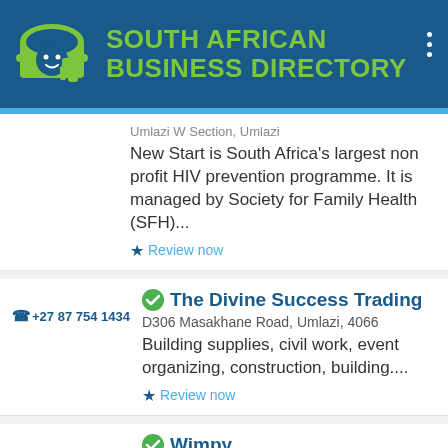[Figure (logo): South African Business Directory logo with hardhat/thumbs-up icon]
SOUTH AFRICAN BUSINESS DIRECTORY
Umlazi W Section, Umlazi
New Start is South Africa's largest non profit HIV prevention programme. It is managed by Society for Family Health (SFH)...
Review now
+27 87 754 1434
The Divine Success Trading
D306 Masakhane Road, Umlazi, 4066
Building supplies, civil work, event organizing, construction, building....
Review now
0310065130
Wimpy
Umlazi Mega City, OM7 & OM8, Grifiths